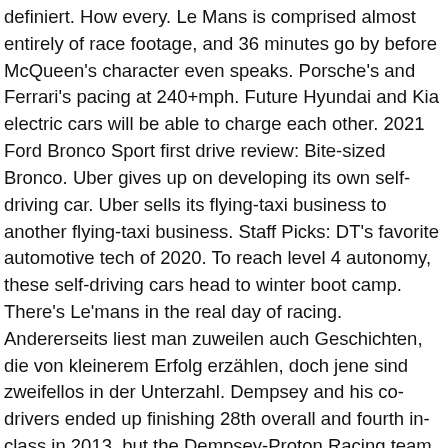definiert. How every. Le Mans is comprised almost entirely of race footage, and 36 minutes go by before McQueen's character even speaks. Porsche's and Ferrari's pacing at 240+mph. Future Hyundai and Kia electric cars will be able to charge each other. 2021 Ford Bronco Sport first drive review: Bite-sized Bronco. Uber gives up on developing its own self-driving car. Uber sells its flying-taxi business to another flying-taxi business. Staff Picks: DT's favorite automotive tech of 2020. To reach level 4 autonomy, these self-driving cars head to winter boot camp. There's Le'mans in the real day of racing. Andererseits liest man zuweilen auch Geschichten, die von kleinerem Erfolg erzählen, doch jene sind zweifellos in der Unterzahl. Dempsey and his co-drivers ended up finishing 28th overall and fourth in-class in 2013, but the Dempsey-Proton Racing team is far from done. Is there a trailer for Le Mans '66? Alle Le mans movie im Blick. The new Le Mans film 'Ford v Ferrari' triggers a wave of sweet memories for three men from Texas A kid from Texas was beyond ecstatic when … Release Calendar DVD & Blu-ray Releases Top Rated Movies Most Popular Movies Browse Movies by Genre